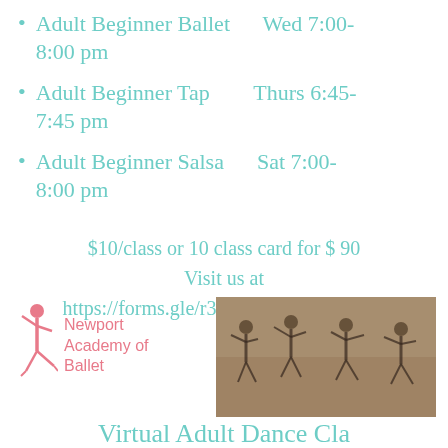Adult Beginner Ballet    Wed 7:00-8:00 pm
Adult Beginner Tap    Thurs 6:45-7:45 pm
Adult Beginner Salsa    Sat 7:00-8:00 pm
$10/class or 10 class card for $ 90
Visit us at
https://forms.gle/r3RwCRKRb7sMp8P3
[Figure (logo): Newport Academy of Ballet logo with pink dancer silhouette]
[Figure (photo): Group of dancers in black leotards practicing ballet]
Virtual Adult Dance Cla...